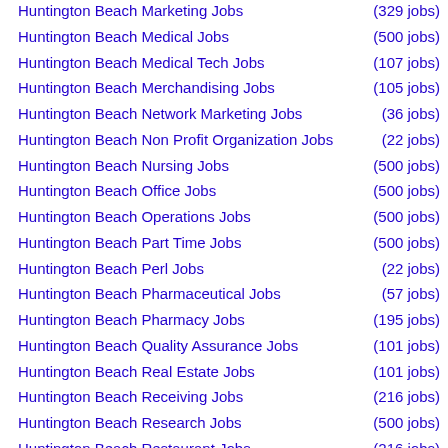Huntington Beach Marketing Jobs (329 jobs)
Huntington Beach Medical Jobs (500 jobs)
Huntington Beach Medical Tech Jobs (107 jobs)
Huntington Beach Merchandising Jobs (105 jobs)
Huntington Beach Network Marketing Jobs (36 jobs)
Huntington Beach Non Profit Organization Jobs (22 jobs)
Huntington Beach Nursing Jobs (500 jobs)
Huntington Beach Office Jobs (500 jobs)
Huntington Beach Operations Jobs (500 jobs)
Huntington Beach Part Time Jobs (500 jobs)
Huntington Beach Perl Jobs (22 jobs)
Huntington Beach Pharmaceutical Jobs (57 jobs)
Huntington Beach Pharmacy Jobs (195 jobs)
Huntington Beach Quality Assurance Jobs (101 jobs)
Huntington Beach Real Estate Jobs (101 jobs)
Huntington Beach Receiving Jobs (216 jobs)
Huntington Beach Research Jobs (500 jobs)
Huntington Beach Restaurant Jobs (216 jobs)
Huntington Beach Retail Jobs (301 jobs)
Huntington Beach Retail Management Jobs (144 jobs)